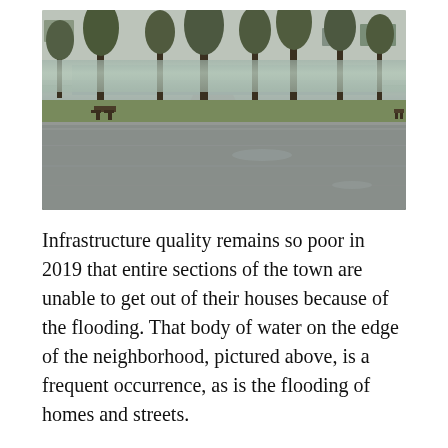[Figure (photo): A flooded neighborhood scene showing a street-level view with bare trees, a waterlogged park area in the background, picnic tables, wet pavement in the foreground, and standing floodwater visible among the trees.]
Infrastructure quality remains so poor in 2019 that entire sections of the town are unable to get out of their houses because of the flooding. That body of water on the edge of the neighborhood, pictured above, is a frequent occurrence, as is the flooding of homes and streets.